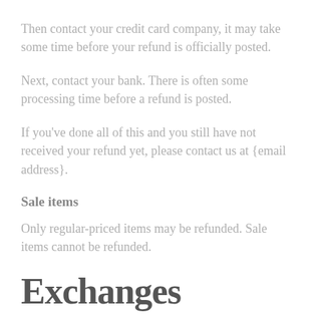Then contact your credit card company, it may take some time before your refund is officially posted.
Next, contact your bank. There is often some processing time before a refund is posted.
If you've done all of this and you still have not received your refund yet, please contact us at {email address}.
Sale items
Only regular-priced items may be refunded. Sale items cannot be refunded.
Exchanges